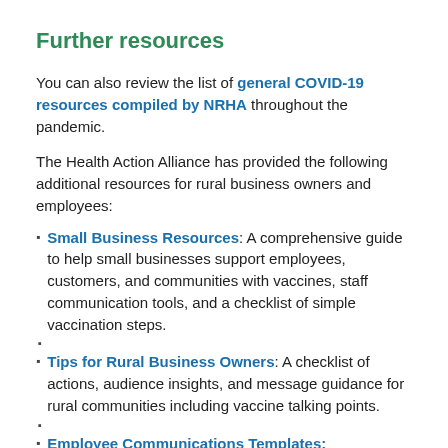Further resources
You can also review the list of general COVID-19 resources compiled by NRHA throughout the pandemic.
The Health Action Alliance has provided the following additional resources for rural business owners and employees:
Small Business Resources: A comprehensive guide to help small businesses support employees, customers, and communities with vaccines, staff communication tools, and a checklist of simple vaccination steps.
Tips for Rural Business Owners: A checklist of actions, audience insights, and message guidance for rural communities including vaccine talking points.
Employee Communications Templates: Conversation guides, social media content, email and other internal communication, tips for finding speakers, audience insights,